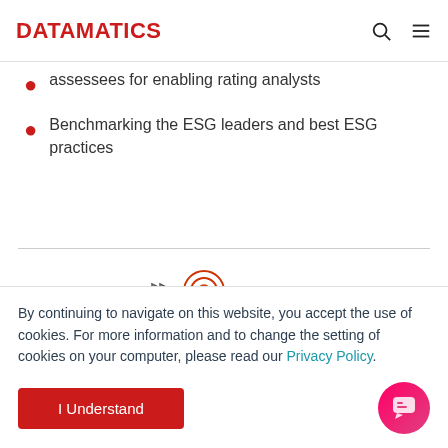DATAMATICS
assessees for enabling rating analysts
Benchmarking the ESG leaders and best ESG practices
[Figure (illustration): Decorative illustration with target/pencil motif]
By continuing to navigate on this website, you accept the use of cookies. For more information and to change the setting of cookies on your computer, please read our Privacy Policy.
I Understand